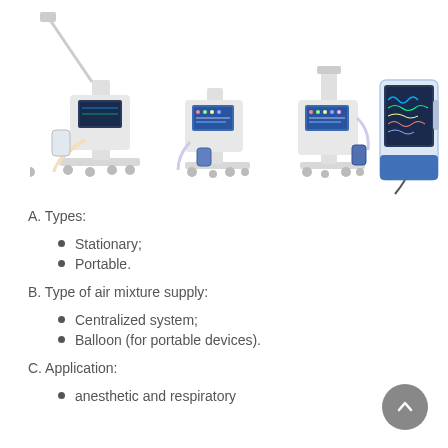[Figure (photo): Four medical ventilator devices: three tall stationary ventilators on wheeled stands with monitors and tubing, and one smaller portable ventilator unit, all in white and blue/gray colors.]
A. Types:
Stationary;
Portable.
B. Type of air mixture supply:
Centralized system;
Balloon (for portable devices).
C. Application:
anesthetic and respiratory